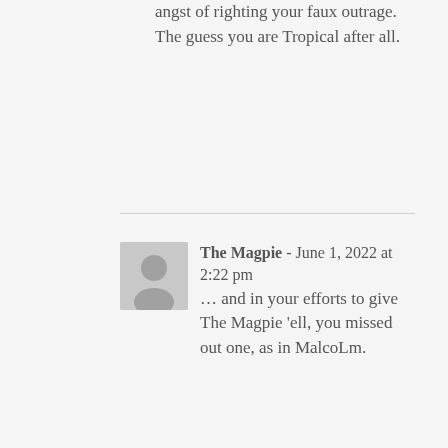angst of righting your faux outrage. The guess you are Tropical after all.
The Magpie - June 1, 2022 at 2:22 pm
... and in your efforts to give The Magpie 'ell, you missed out one, as in MalcoLm.
Banana Custard - June 1, 2022 at 7:54 pm
Wow, Fake Gunny/Stolen Valour. I never would have thought of using different pseudonyms! How clever of you!